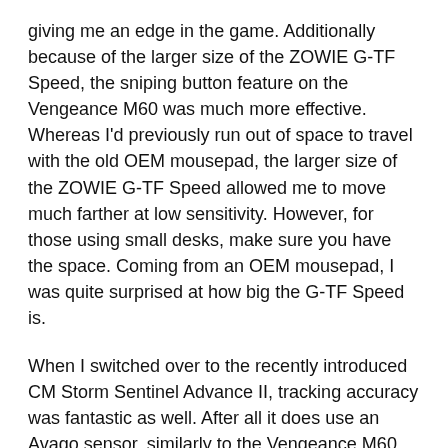giving me an edge in the game. Additionally because of the larger size of the ZOWIE G-TF Speed, the sniping button feature on the Vengeance M60 was much more effective. Whereas I'd previously run out of space to travel with the old OEM mousepad, the larger size of the ZOWIE G-TF Speed allowed me to move much farther at low sensitivity. However, for those using small desks, make sure you have the space. Coming from an OEM mousepad, I was quite surprised at how big the G-TF Speed is.
When I switched over to the recently introduced CM Storm Sentinel Advance II, tracking accuracy was fantastic as well. After all it does use an Avago sensor, similarly to the Vengeance M60. However, because of the smaller feet on the Sentinel Advance II, I actually found that the speed of the mouse decreased a bit because the feet were catching onto the mousepad's texturing. While using smooth cloth